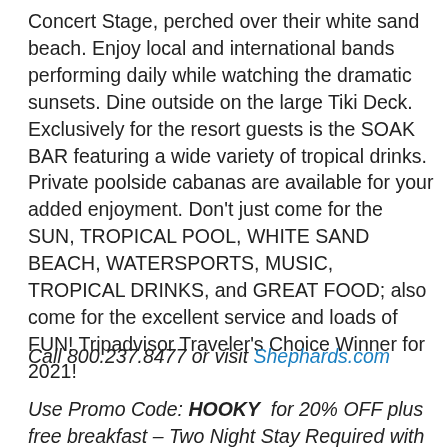Concert Stage, perched over their white sand beach. Enjoy local and international bands performing daily while watching the dramatic sunsets. Dine outside on the large Tiki Deck. Exclusively for the resort guests is the SOAK BAR featuring a wide variety of tropical drinks. Private poolside cabanas are available for your added enjoyment. Don't just come for the SUN, TROPICAL POOL, WHITE SAND BEACH, WATERSPORTS, MUSIC, TROPICAL DRINKS, and GREAT FOOD; also come for the excellent service and loads of FUN! Tripadvisor Traveler's Choice Winner for 2021!
Call 800.237.8477 or visit Shephards.com
Use Promo Code: HOOKY  for 20% OFF plus free breakfast – Two Night Stay Required with Promo;